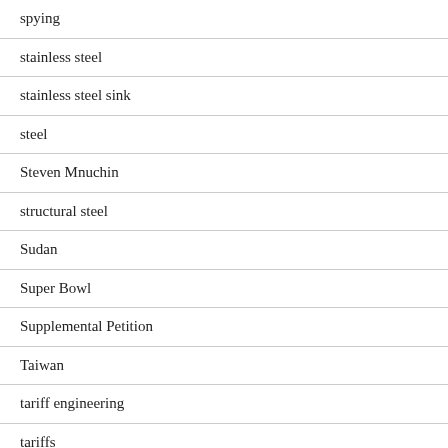spying
stainless steel
stainless steel sink
steel
Steven Mnuchin
structural steel
Sudan
Super Bowl
Supplemental Petition
Taiwan
tariff engineering
tariffs
television
Tesla
TFTEA